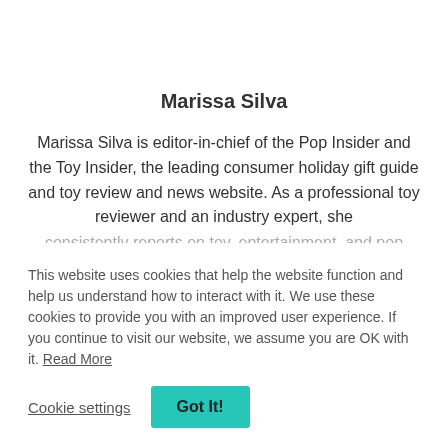Marissa Silva
Marissa Silva is editor-in-chief of the Pop Insider and the Toy Insider, the leading consumer holiday gift guide and toy review and news website. As a professional toy reviewer and an industry expert, she consistently reports on toy, entertainment, and pop
This website uses cookies that help the website function and help us understand how to interact with it. We use these cookies to provide you with an improved user experience. If you continue to visit our website, we assume you are OK with it. Read More
Cookie settings   Got It!